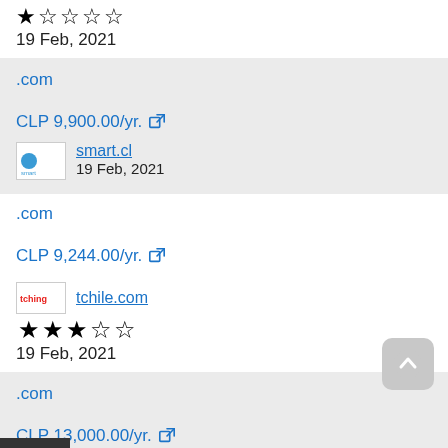★☆☆☆☆ 19 Feb, 2021
.com
CLP 9,900.00/yr.
smart.cl 19 Feb, 2021
.com
CLP 9,244.00/yr.
tchile.com
★★★☆☆ 19 Feb, 2021
.com
CLP 13,000.00/yr.